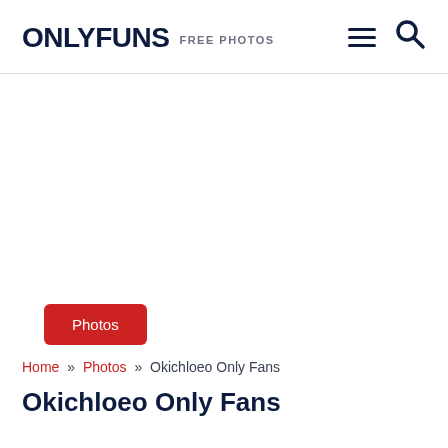ONLYFUNS FREE PHOTOS
[Figure (other): White/empty advertisement area]
Photos
Home » Photos » Okichloeo Only Fans
Okichloeo Only Fans